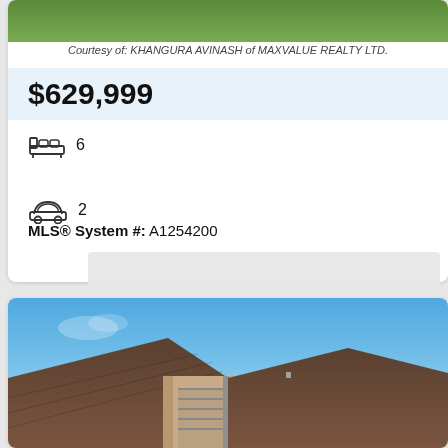Courtesy of: KHANGURA AVINASH of MAXVALUE REALTY LTD.
$629,999
6
2
MLS® System #: A1254200
[Figure (photo): Exterior photo of a house with blue sky background, showing rooftop and garage area]